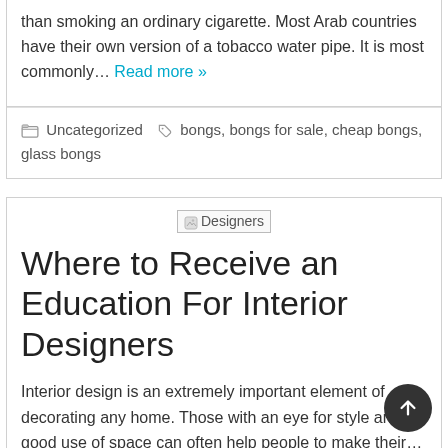than smoking an ordinary cigarette. Most Arab countries have their own version of a tobacco water pipe. It is most commonly… Read more »
Uncategorized   bongs, bongs for sale, cheap bongs, glass bongs
[Figure (illustration): Designers placeholder image]
Where to Receive an Education For Interior Designers
Interior design is an extremely important element of decorating any home. Those with an eye for style and a good use of space can often help people to make their… Read more »